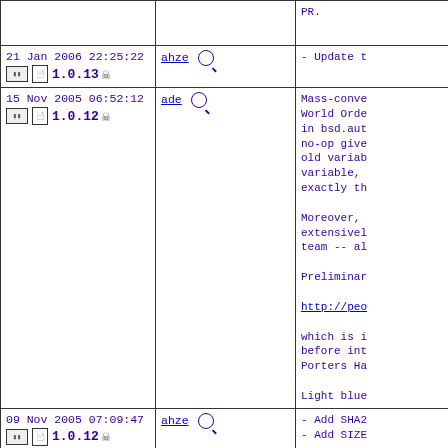| Date/Version | Committer | Log |
| --- | --- | --- |
|  |  | PR. |
| 21 Jan 2006 22:25:22
1.0.13 | ahze | - Update t |
| 15 Nov 2005 06:52:12
1.0.12 | ade | Mass-conve
World Orde
in bsd.aut
no-op give
old variab
variable,
exactly th

Moreover,
extensivel
team -- al

Preliminar

http://peo

which is i
before int
Porters Ha

Light blue |
| 09 Nov 2005 07:09:47
1.0.12 | ahze | - Add SHA2
- Add SIZE |